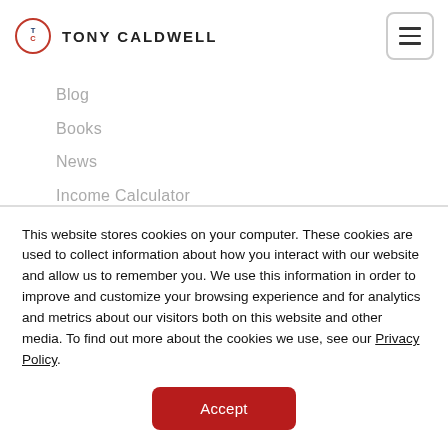TC TONY CALDWELL
Blog
Books
News
Income Calculator
EBOOKS
The Silver Lining of COVID-19
Virtual Insurance Agencies On The Rise
This website stores cookies on your computer. These cookies are used to collect information about how you interact with our website and allow us to remember you. We use this information in order to improve and customize your browsing experience and for analytics and metrics about our visitors both on this website and other media. To find out more about the cookies we use, see our Privacy Policy.
Accept